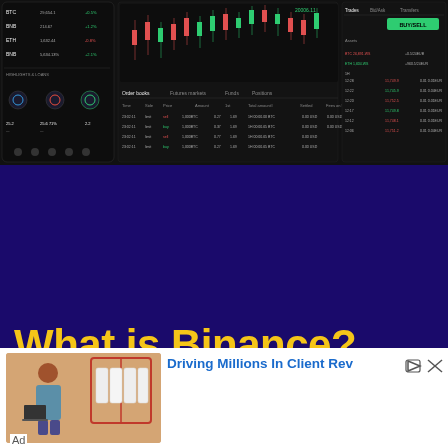[Figure (screenshot): Binance trading platform screenshot showing a mobile app panel on the left with BTC, ETH, BNB cryptocurrency listings, and a desktop trading interface on the right with candlestick chart, order book, and trade history panels.]
What is Binance?
Binance, the world’s largest cryptocurrency exchange, was founded in 2017 in China
[Figure (photo): Advertisement image showing a person with a clothing rack, with text 'Driving Millions In Client Rev']
Ad